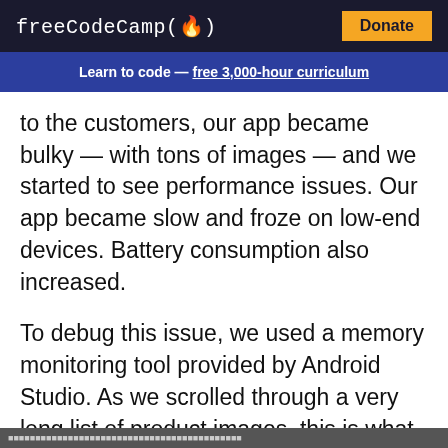freeCodeCamp(🔥)  Donate
Learn to code — free 3,000-hour curriculum
to the customers, our app became bulky — with tons of images — and we started to see performance issues. Our app became slow and froze on low-end devices. Battery consumption also increased.
To debug this issue, we used a memory monitoring tool provided by Android Studio. As we scrolled through a very long list of product images, this is what we observed: